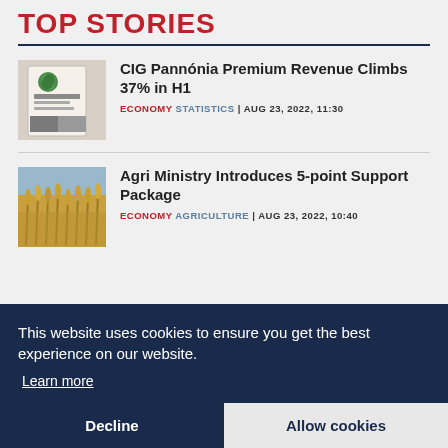TOP STORIES
CIG Pannónia Premium Revenue Climbs 37% in H1
ECONOMY STATISTICS | AUG 23, 2022, 11:30
Agri Ministry Introduces 5-point Support Package
ECONOMY AGRICULTURE | AUG 23, 2022, 10:40
This website uses cookies to ensure you get the best experience on our website.
Learn more
Decline
Allow cookies